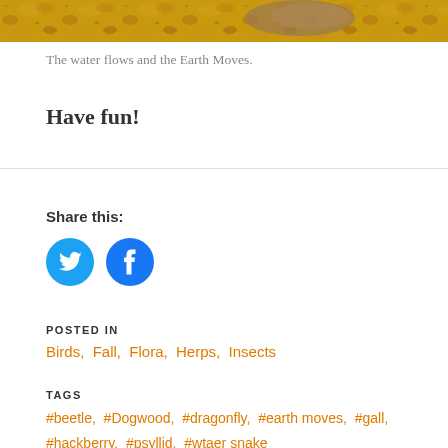[Figure (photo): Partial photo strip showing a sandy/earthy ground surface with golden/brown tones, cropped at top of page]
The water flows and the Earth Moves.
Have fun!
Share this:
[Figure (other): Twitter bird icon (blue circle with white bird) and Facebook icon (blue circle with white f), social share buttons]
POSTED IN
Birds, Fall, Flora, Herps, Insects
TAGS
#beetle, #Dogwood, #dragonfly, #earth moves, #gall, #hackberry, #psyllid, #wtaer snake